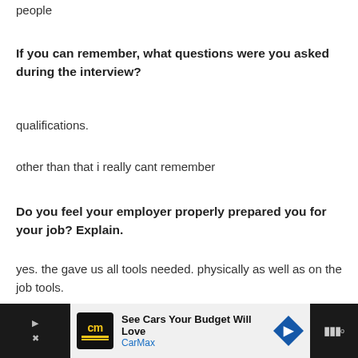people
If you can remember, what questions were you asked during the interview?
qualifications.
other than that i really cant remember
Do you feel your employer properly prepared you for your job? Explain.
yes. the gave us all tools needed. physically as well as on the job tools.
Was there training for your current position? If yes, what did it entail?
it v...
[Figure (other): CarMax advertisement banner at the bottom: 'See Cars Your Budget Will Love' with CarMax logo and navigation arrow icon]